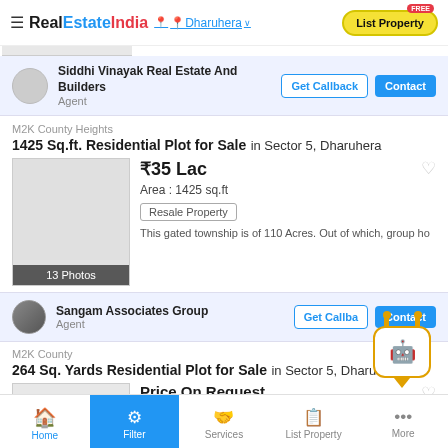RealEstateIndia — Dharuhera
Siddhi Vinayak Real Estate And Builders
Agent
Get Callback | Contact
M2K County Heights
1425 Sq.ft. Residential Plot for Sale in Sector 5, Dharuhera
₹35 Lac
Area : 1425 sq.ft
Resale Property
This gated township is of 110 Acres. Out of which, group ho
13 Photos
Sangam Associates Group
Agent
Get Callback | Contact
M2K County
264 Sq. Yards Residential Plot for Sale in Sector 5, Dharuhera
Price On Request
Home | Filter | Services | List Property | More